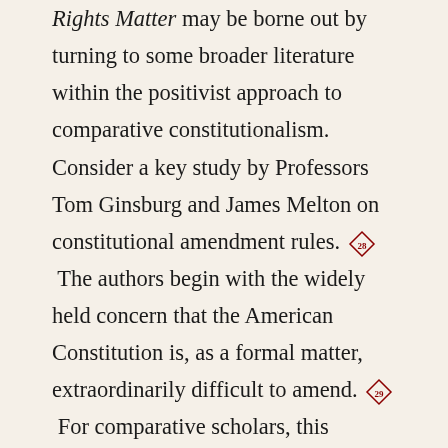Rights Matter may be borne out by turning to some broader literature within the positivist approach to comparative constitutionalism. Consider a key study by Professors Tom Ginsburg and James Melton on constitutional amendment rules.[28] The authors begin with the widely held concern that the American Constitution is, as a formal matter, extraordinarily difficult to amend.[29] For comparative scholars, this feature of the American Constitution has long stood out when one notices the procedures in other countries, and Ginsburg and Melton perform a great service in helping us better understand its implications. They wonder whether the formal